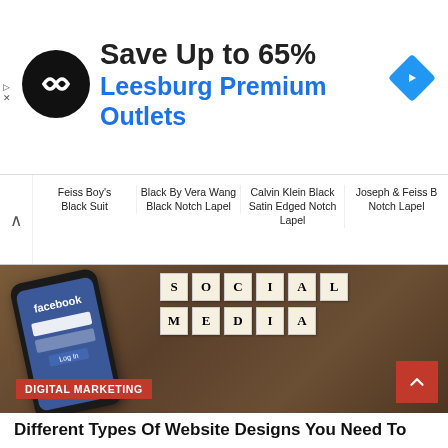[Figure (other): Advertisement banner: black circular logo with infinity/arrow symbol, text 'Save Up to 65% Leesburg Premium Outlets', blue diamond navigation icon on right]
[Figure (other): Product carousel showing suit options: Feiss Boy's Black Suit, Black By Vera Wang Black Notch Lapel, Calvin Klein Black Satin Edged Notch Lapel, Joseph & Feiss B... Notch Lapel]
[Figure (photo): Photo of smartphone showing Facebook login screen on wooden table, with Scrabble tiles spelling 'SOCIAL MEDIA' in background. Red 'DIGITAL MARKETING' label overlaid at bottom left. Red scroll-up arrow button at bottom right.]
Different Types Of Website Designs You Need To